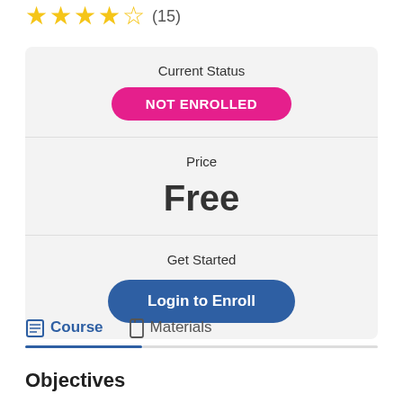[Figure (other): Four and a half gold stars rating with (15) reviews count]
Current Status
NOT ENROLLED
Price
Free
Get Started
Login to Enroll
Course   Materials
Objectives